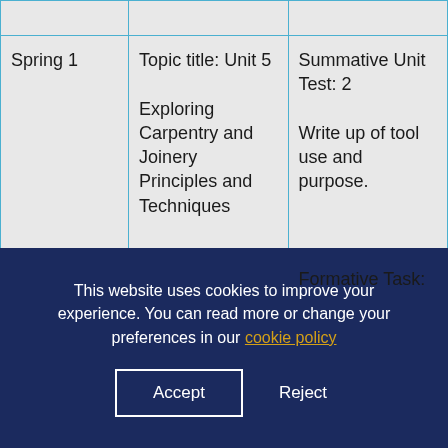|  |  |  |
| --- | --- | --- |
|  |  |  |
| Spring 1 | Topic title: Unit 5

Exploring Carpentry and Joinery Principles and Techniques | Summative Unit Test: 2

Write up of tool use and purpose.


Formative Task: |
This website uses cookies to improve your experience. You can read more or change your preferences in our cookie policy